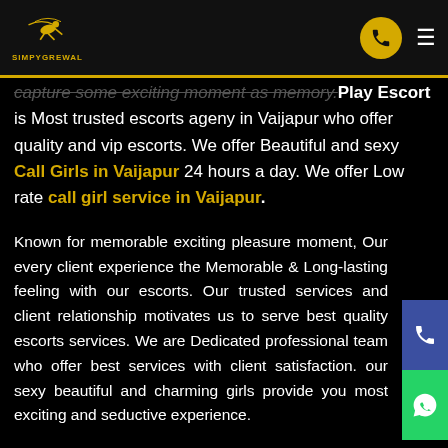SIMPYGREWAL — navigation header with logo, phone button, and hamburger menu
capture some exciting moment as memory. Play Escort is Most trusted escorts ageny in Vaijapur who offer quality and vip escorts. We offer Beautiful and sexy Call Girls in Vaijapur 24 hours a day. We offer Low rate call girl service in Vaijapur.
Known for memorable exciting pleasure moment, Our every client experience the Memorable & Long-lasting feeling with our escorts. Our trusted services and client relationship motivates us to serve best quality escorts services. We are Dedicated professional team who offer best services with client satisfaction. our sexy beautiful and charming girls provide you most exciting and seductive experience.
We select honest beautiful discreet charming personality girls who can offer our client best quality service. We have our agency some guidelines for our